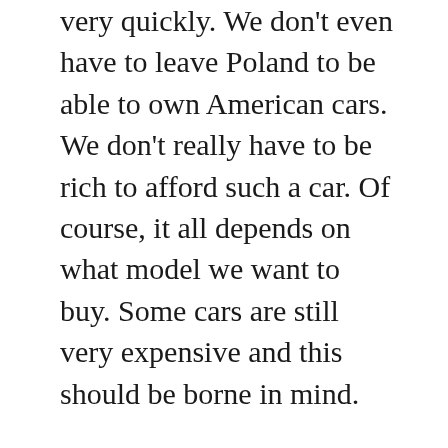very quickly. We don't even have to leave Poland to be able to own American cars. We don't really have to be rich to afford such a car. Of course, it all depends on what model we want to buy. Some cars are still very expensive and this should be borne in mind.
If we have chosen the American car that suits us best, we are definitely looking forward to becoming its owner. At this point, we are not yet interested in how much the parts for US cars cost. We usually start thinking about this topic when we have to look for a store that